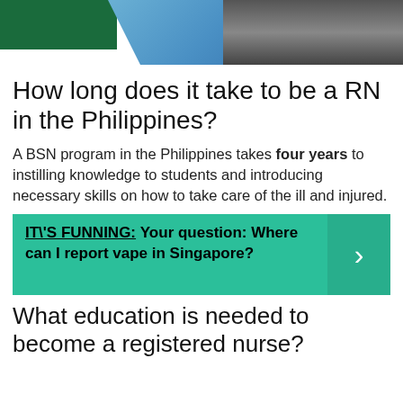[Figure (photo): Top banner with green block, blue diagonal shape, and person in dark clothing photo]
How long does it take to be a RN in the Philippines?
A BSN program in the Philippines takes four years to instilling knowledge to students and introducing necessary skills on how to take care of the ill and injured.
IT\'S FUNNING:  Your question: Where can I report vape in Singapore?
What education is needed to become a registered nurse?